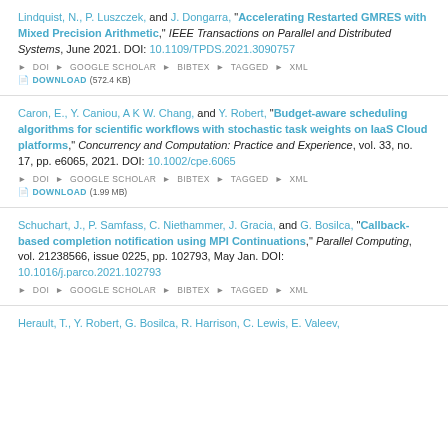Lindquist, N., P. Luszczek, and J. Dongarra, "Accelerating Restarted GMRES with Mixed Precision Arithmetic," IEEE Transactions on Parallel and Distributed Systems, June 2021. DOI: 10.1109/TPDS.2021.3090757
Caron, E., Y. Caniou, A K W. Chang, and Y. Robert, "Budget-aware scheduling algorithms for scientific workflows with stochastic task weights on IaaS Cloud platforms," Concurrency and Computation: Practice and Experience, vol. 33, no. 17, pp. e6065, 2021. DOI: 10.1002/cpe.6065
Schuchart, J., P. Samfass, C. Niethammer, J. Gracia, and G. Bosilca, "Callback-based completion notification using MPI Continuations," Parallel Computing, vol. 21238566, issue 0225, pp. 102793, May Jan. DOI: 10.1016/j.parco.2021.102793
Herault, T., Y. Robert, G. Bosilca, R. Harrison, C. Lewis, E. Valeev, ...